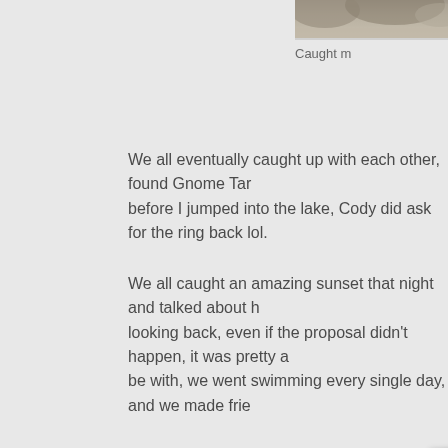[Figure (photo): Top portion of a rocky mountain or boulder scene, partially visible at the top of the page, cropped.]
Caught m
We all eventually caught up with each other, found Gnome Tar before I jumped into the lake, Cody did ask for the ring back lol.
We all caught an amazing sunset that night and talked about h looking back, even if the proposal didn't happen, it was pretty a be with, we went swimming every single day, and we made frie
[Figure (photo): Night sky filled with stars, dark blue background with numerous white dots representing stars.]